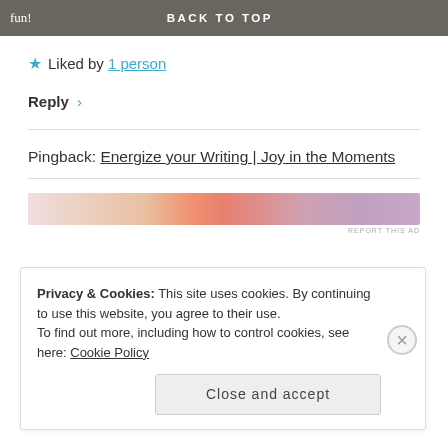fun! BACK TO TOP
★ Liked by 1 person
Reply ›
Pingback: Energize your Writing | Joy in the Moments
[Figure (other): Advertisement banner with gradient colors from pink/salmon to purple]
Privacy & Cookies: This site uses cookies. By continuing to use this website, you agree to their use. To find out more, including how to control cookies, see here: Cookie Policy
Close and accept